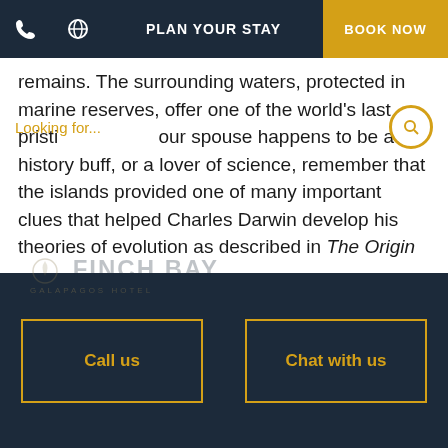PLAN YOUR STAY | BOOK NOW
remains. The surrounding waters, protected in marine reserves, offer one of the world's last pristi our spouse happens to be a history buff, or a lover of science, remember that the islands provided one of many important clues that helped Charles Darwin develop his theories of evolution as described in The Origin of Species. Everything comes together in this one magical, out-of-this-world place: the Galapagos Islands.
Call us | Chat with us